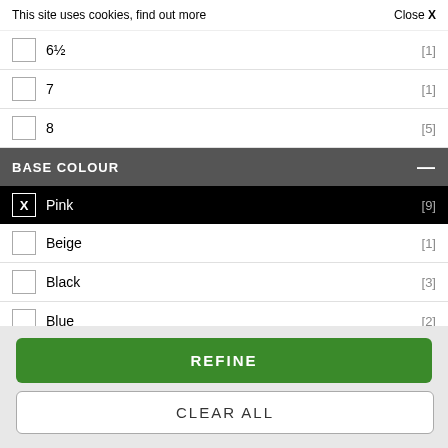This site uses cookies, find out more   Close X
6½ [1]
7 [1]
8 [5]
BASE COLOUR —
X Pink [9]
Beige [1]
Black [3]
Blue [2]
Grey [1]
Orange [1]
Purple [1]
REFINE
CLEAR ALL